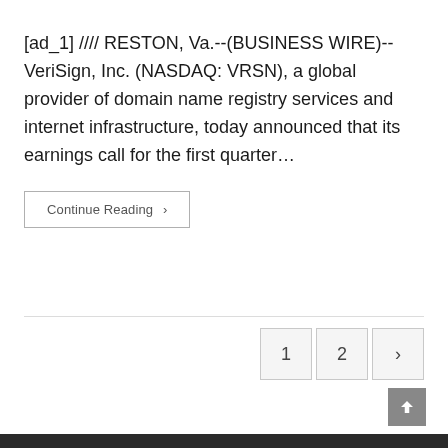[ad_1] //// RESTON, Va.--(BUSINESS WIRE)-- VeriSign, Inc. (NASDAQ: VRSN), a global provider of domain name registry services and internet infrastructure, today announced that its earnings call for the first quarter…
Continue Reading ›
1  2  ›